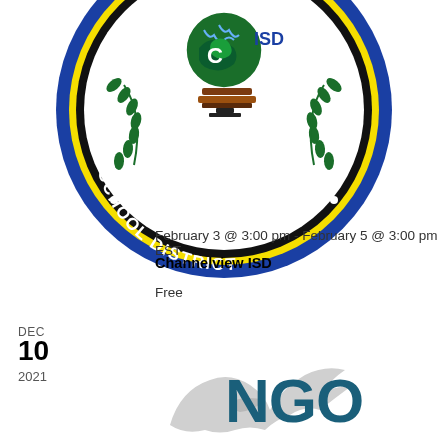[Figure (logo): Channelview ISD school district circular seal logo with globe, books, and laurel wreath on blue background with yellow ring]
February 3 @ 3:00 pm - February 5 @ 3:00 pm EST
Channelview ISD
Free
DEC
10
2021
[Figure (logo): NGO logo with stylized bird/dove and the text NGO in dark teal/blue letters]